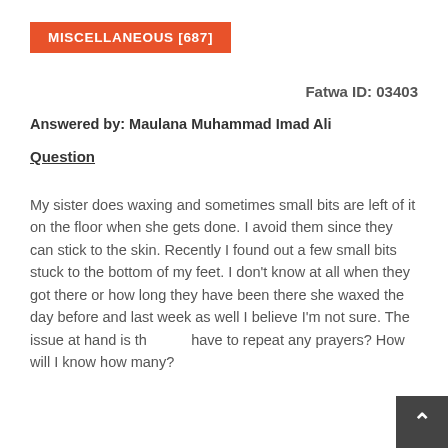MISCELLANEOUS [687]
Fatwa ID: 03403
Answered by: Maulana Muhammad Imad Ali
Question
My sister does waxing and sometimes small bits are left of it on the floor when she gets done. I avoid them since they can stick to the skin. Recently I found out a few small bits stuck to the bottom of my feet. I don't know at all when they got there or how long they have been there she waxed the day before and last week as well I believe I'm not sure. The issue at hand is that have to repeat any prayers? How will I know how many?